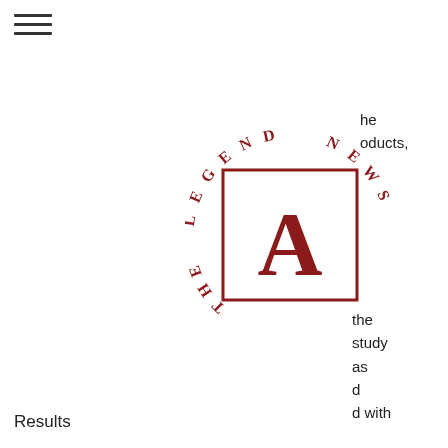[Figure (logo): The Legend News circular logo with letter A in a red square border, text arranged in a circle reading THE LEGEND NEWS]
he
oducts,
the
study
as
d
d with
an ARA-labeled product. To assess the sensitivity and specificity of the two methods, we compared the positive and negative reactions to the drug on the following chemical criteria: 1) concentration, 2) time after administration, 3) specific gravity (SGR), and 4) relative dilution of all toxic substances.
Results